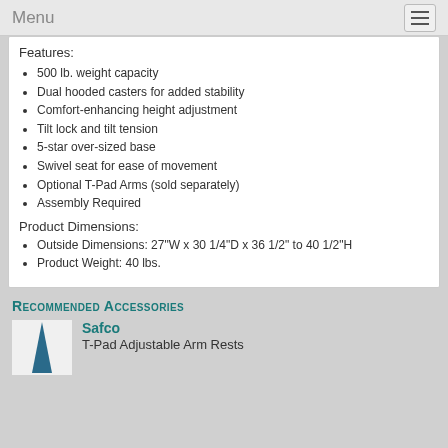Menu
Features:
500 lb. weight capacity
Dual hooded casters for added stability
Comfort-enhancing height adjustment
Tilt lock and tilt tension
5-star over-sized base
Swivel seat for ease of movement
Optional T-Pad Arms (sold separately)
Assembly Required
Product Dimensions:
Outside Dimensions: 27"W x 30 1/4"D x 36 1/2" to 40 1/2"H
Product Weight: 40 lbs.
Recommended Accessories
Safco
T-Pad Adjustable Arm Rests